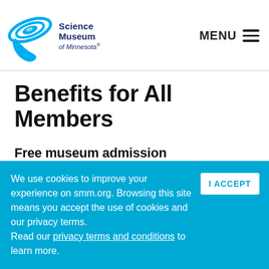Science Museum of Minnesota — MENU
Benefits for All Members
Free museum admission
Every membership includes free exhibit admission and Omnitheater movies — every time you visit.
We use cookies to improve your experience on smm.org. Browsing this site means you accept the use of cookies and our privacy terms. Read our privacy terms and conditions to learn more.